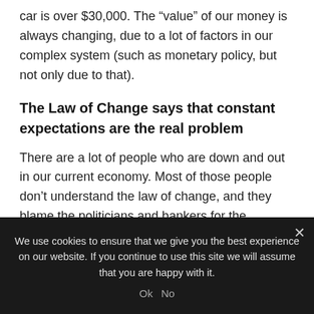car is over $30,000.  The “value” of our money is always changing, due to a lot of factors in our complex system (such as monetary policy, but not only due to that).
The Law of Change says that constant expectations are the real problem
There are a lot of people who are down and out in our current economy.  Most of those people don’t understand the law of change, and they blame the politicians and bankers for the changes that have
We use cookies to ensure that we give you the best experience on our website. If you continue to use this site we will assume that you are happy with it.
Ok   No